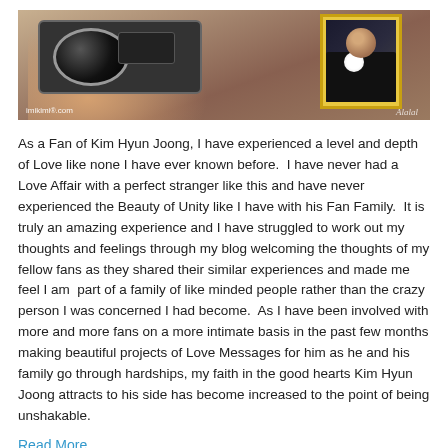[Figure (photo): A person holding a DSLR camera close to their face with both hands, with a framed photo inset (top right) showing a man in a tuxedo with a white boutonniere. Watermark 'imikimi.com' in bottom left, cursive signature in bottom right.]
As a Fan of Kim Hyun Joong, I have experienced a level and depth of Love like none I have ever known before.  I have never had a Love Affair with a perfect stranger like this and have never experienced the Beauty of Unity like I have with his Fan Family.  It is truly an amazing experience and I have struggled to work out my thoughts and feelings through my blog welcoming the thoughts of my fellow fans as they shared their similar experiences and made me feel I am  part of a family of like minded people rather than the crazy person I was concerned I had become.  As I have been involved with more and more fans on a more intimate basis in the past few months making beautiful projects of Love Messages for him as he and his family go through hardships, my faith in the good hearts Kim Hyun Joong attracts to his side has become increased to the point of being unshakable.
Read More